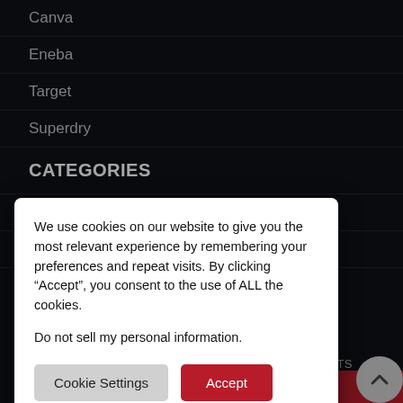Canva
Eneba
Target
Superdry
CATEGORIES
Clothing & Accessories
Electronics Offers
We use cookies on our website to give you the most relevant experience by remembering your preferences and repeat visits. By clicking “Accept”, you consent to the use of ALL the cookies.
Do not sell my personal information.
Cookie Settings
Accept
LL RIGHTS
English